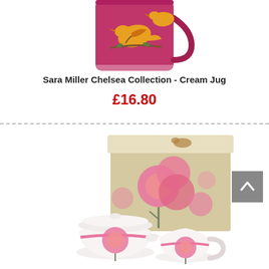[Figure (photo): Top portion of a Sara Miller Chelsea Collection cream jug with pink/magenta background and bird design, partially cropped at top]
Sara Miller Chelsea Collection - Cream Jug
£16.80
[Figure (photo): Sara Miller Chelsea Collection gift set showing a decorative gift box with pink floral pattern alongside a white porcelain sugar bowl and cream jug with pink dahlia flower design]